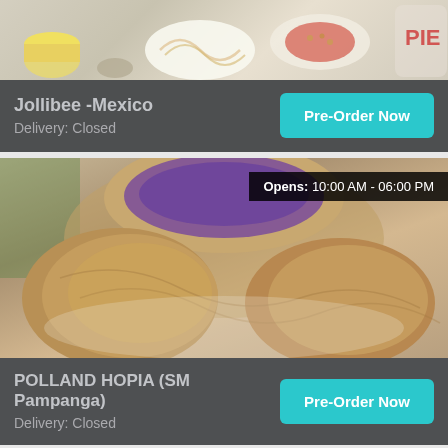[Figure (screenshot): Jollibee -Mexico restaurant card with food photo at top showing various dishes, a dark footer with restaurant name and delivery status, and a cyan Pre-Order Now button.]
Jollibee -Mexico
Delivery: Closed
[Figure (screenshot): POLLAND HOPIA (SM Pampanga) card showing hopia pastries photo with an Opens: 10:00 AM - 06:00 PM badge, dark footer, and Pre-Order Now button.]
Opens: 10:00 AM - 06:00 PM
POLLAND HOPIA (SM Pampanga)
Delivery: Closed
[Figure (screenshot): Third restaurant card with bubble tea/drinks photo showing Opens: 10:00 AM - 07:30 PM badge.]
Opens: 10:00 AM - 07:30 PM